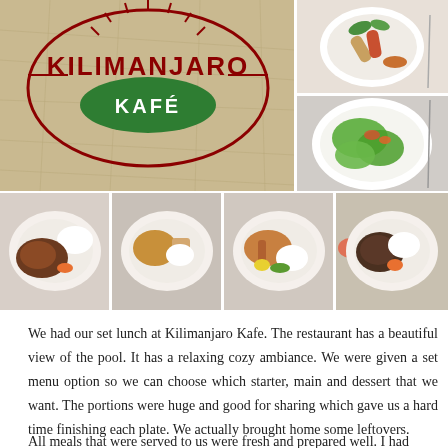[Figure (photo): Photo collage of Kilimanjaro Kafe restaurant: top-left large photo shows the Kilimanjaro Kafe logo on a floor/wall; top-right two photos show food dishes (spring rolls/appetizer and a salad plate); bottom row shows four food plates with various main courses including chicken, stir-fry dishes, and rice.]
We had our set lunch at Kilimanjaro Kafe. The restaurant has a beautiful view of the pool. It has a relaxing cozy ambiance. We were given a set menu option so we can choose which starter, main and dessert that we want. The portions were huge and good for sharing which gave us a hard time finishing each plate. We actually brought home some leftovers.
All meals that were served to us were fresh and prepared well. I had